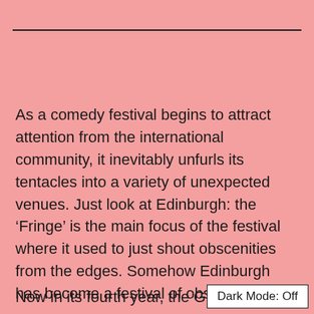As a comedy festival begins to attract attention from the international community, it inevitably unfurls its tentacles into a variety of unexpected venues. Just look at Edinburgh: the ‘Fringe’ is the main focus of the festival where it used to just shout obscenities from the edges. Somehow Edinburgh has become a festival of obscene edges.
Now in its fourth year, the Glasgo
Dark Mode: Off